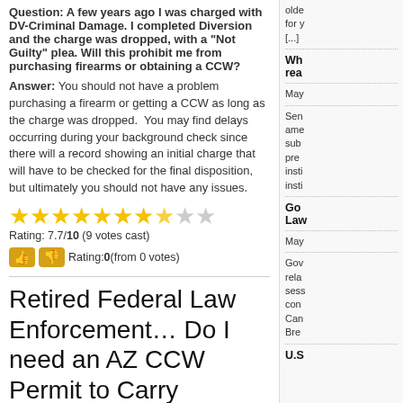Question: A few years ago I was charged with DV-Criminal Damage. I completed Diversion and the charge was dropped, with a "Not Guilty" plea. Will this prohibit me from purchasing firearms or obtaining a CCW?
Answer: You should not have a problem purchasing a firearm or getting a CCW as long as the charge was dropped. You may find delays occurring during your background check since there will a record showing an initial charge that will have to be checked for the final disposition, but ultimately you should not have any issues.
[Figure (other): Star rating: 7.7 out of 10 stars (8 filled, 1 partial, 2 empty)]
Rating: 7.7/10 (9 votes cast)
Rating: 0 (from 0 votes)
Retired Federal Law Enforcement… Do I need an AZ CCW Permit to Carry Concealed?
January 3, 2010 | AZ CCW Laws, CCW Administrative Rules, State Firearms Laws | Comments Off
Question: I am a retired Supervisory (GS-14)Border Patrol